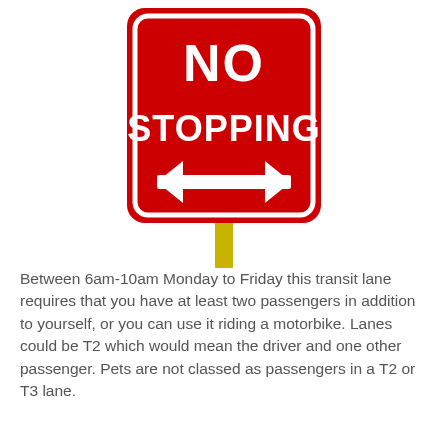[Figure (photo): A red rectangular 'NO STOPPING' road sign with a white double-headed arrow at the bottom, mounted on a yellow post. The sign has rounded corners and a white border.]
Between 6am-10am Monday to Friday this transit lane requires that you have at least two passengers in addition to yourself, or you can use it riding a motorbike. Lanes could be T2 which would mean the driver and one other passenger. Pets are not classed as passengers in a T2 or T3 lane.